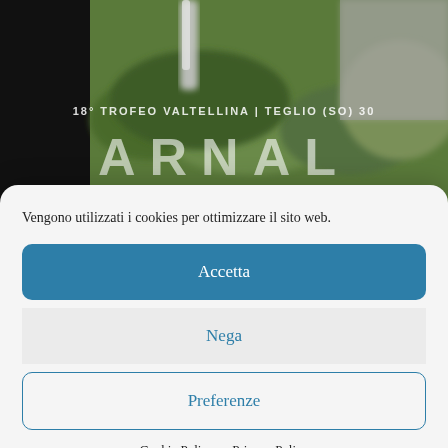[Figure (photo): Blurred outdoor photo showing green foliage and a metallic object, with overlaid text reading '18° TROFEO VALTELLINA | TEGLIO (SO) 30' and 'ARNAL' in large letters]
Vengono utilizzati i cookies per ottimizzare il sito web.
Accetta
Nega
Preferenze
Cookie Policy · Privacy Policy